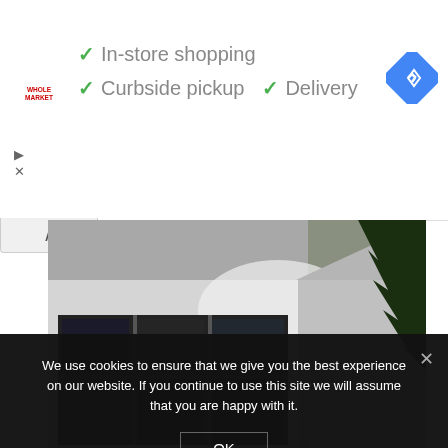[Figure (screenshot): Ad banner with Whole Foods Market logo, checkmarks for In-store shopping, Curbside pickup, Delivery, and a Google Maps navigation icon]
✓ In-store shopping
✓ Curbside pickup  ✓ Delivery
[Figure (photo): Photograph of a modern building extension with large black-framed windows, white/grey exterior walls, and surrounding greenery - Sart-Messire-Guillaume architecture by Atelier d'Architecture Vincent Delfosse]
Sart-Messire-Guillaume by Atelier d' Architecture Vincent Delfosse
We use cookies to ensure that we give you the best experience on our website. If you continue to use this site we will assume that you are happy with it.
OK